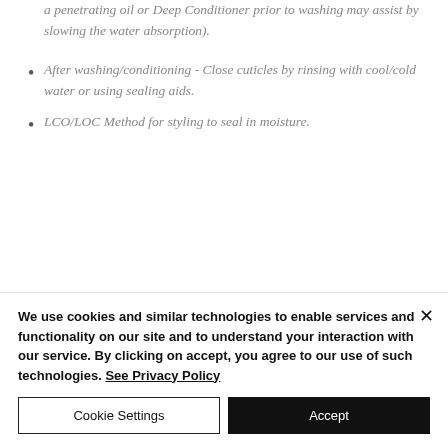a penetrating oil or Deep Conditioner prior to washing may assist by slowing the water absorption).
After washing/conditioning - Close cuticles by rinsing with cool/cold water or using sealing aids.
LCO/LOC Method for styling to seal in moisture.
We use cookies and similar technologies to enable services and functionality on our site and to understand your interaction with our service. By clicking on accept, you agree to our use of such technologies. See Privacy Policy
Cookie Settings
Accept